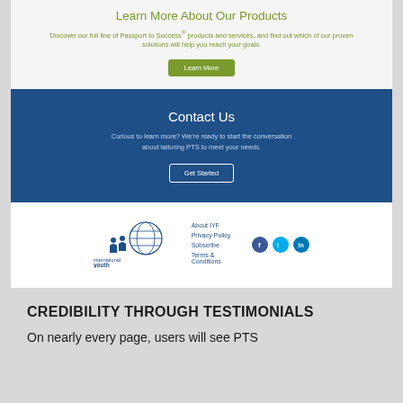Learn More About Our Products
Discover our full line of Passport to Success® products and services, and find out which of our proven solutions will help you reach your goals.
Learn More
Contact Us
Curious to learn more? We're ready to start the conversation about tailoring PTS to meet your needs.
Get Started
[Figure (logo): International Youth Foundation logo with globe and figures]
About IYF
Privacy Policy
Subscribe
Terms & Conditions
[Figure (illustration): Social media icons: Facebook, Twitter, LinkedIn]
CREDIBILITY THROUGH TESTIMONIALS
On nearly every page, users will see PTS